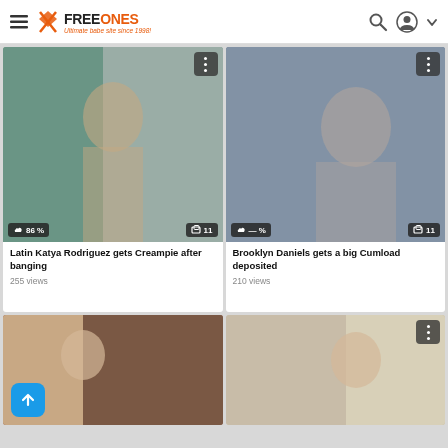FreeOnes — Ultimate babe site since 1998!
[Figure (screenshot): Thumbnail image of video: Latin Katya Rodriguez gets Creampie after banging — rating 86%, 11 images]
Latin Katya Rodriguez gets Creampie after banging
255 views
[Figure (screenshot): Thumbnail image of video: Brooklyn Daniels gets a big Cumload deposited — rating —%, 11 images]
Brooklyn Daniels gets a big Cumload deposited
210 views
[Figure (screenshot): Thumbnail image of a fourth video, partially visible at bottom-left]
[Figure (screenshot): Thumbnail image of a fifth video, partially visible at bottom-right]